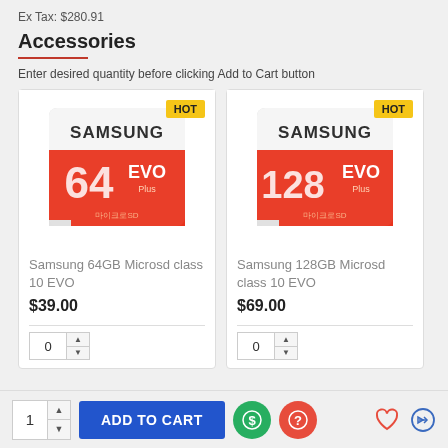Ex Tax: $280.91
Accessories
Enter desired quantity before clicking Add to Cart button
[Figure (photo): Samsung 64GB microSD card EVO Plus class 10 with HOT badge]
Samsung 64GB Microsd class 10 EVO
$39.00
[Figure (photo): Samsung 128GB microSD card EVO Plus class 10 with HOT badge]
Samsung 128GB Microsd class 10 EVO
$69.00
1  ADD TO CART